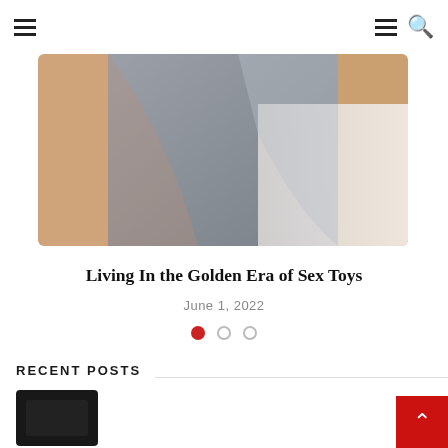Navigation header with hamburger menu icons and search icon
[Figure (photo): Close-up photo of a person wearing gray underwear against a white background, cropped to show torso and thighs]
Living In the Golden Era of Sex Toys
June 1, 2022
RECENT POSTS
[Figure (photo): Small dark thumbnail image for a recent post]